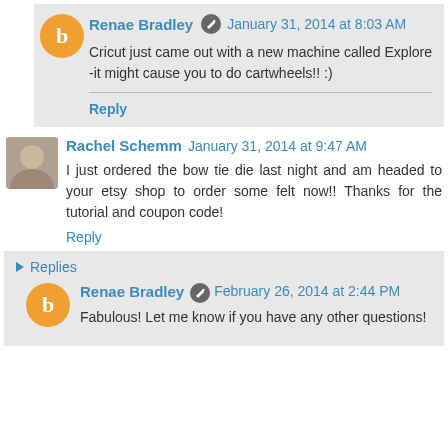Renae Bradley · January 31, 2014 at 8:03 AM
Cricut just came out with a new machine called Explore -it might cause you to do cartwheels!! :)
Reply
Rachel Schemm January 31, 2014 at 9:47 AM
I just ordered the bow tie die last night and am headed to your etsy shop to order some felt now!! Thanks for the tutorial and coupon code!
Reply
▸ Replies
Renae Bradley · February 26, 2014 at 2:44 PM
Fabulous! Let me know if you have any other questions!